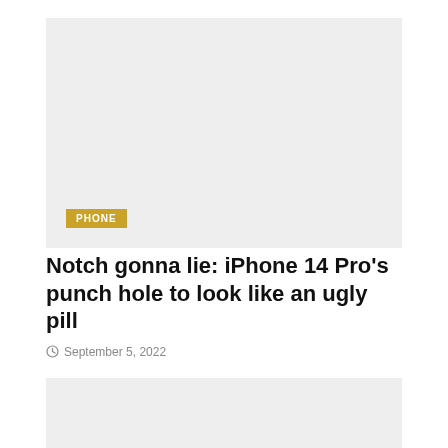[Figure (photo): Gray placeholder image with a PHONE category badge in gold/yellow in the bottom left corner]
Notch gonna lie: iPhone 14 Pro's punch hole to look like an ugly pill
September 5, 2022
[Figure (photo): Gray placeholder image partially visible at bottom of page]